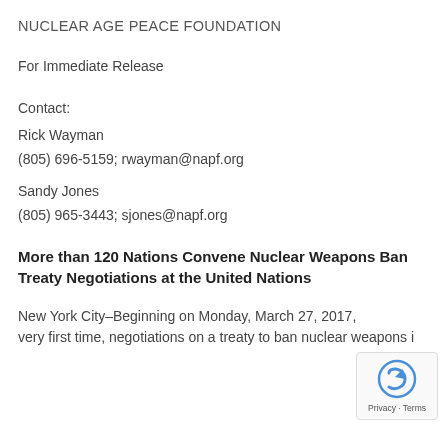NUCLEAR AGE PEACE FOUNDATION
For Immediate Release
Contact:
Rick Wayman
(805) 696-5159; rwayman@napf.org
Sandy Jones
(805) 965-3443; sjones@napf.org
More than 120 Nations Convene Nuclear Weapons Ban Treaty Negotiations at the United Nations
New York City–Beginning on Monday, March 27, 2017, very first time, negotiations on a treaty to ban nuclear weapons i